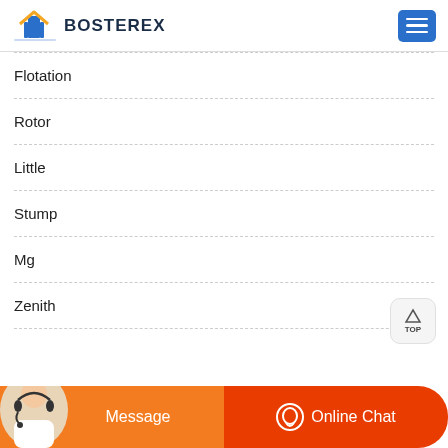[Figure (logo): Bosterex logo with building icon and bold text BOSTEREX]
Flotation
Rotor
Little
Stump
Mg
Zenith
Message
Online Chat